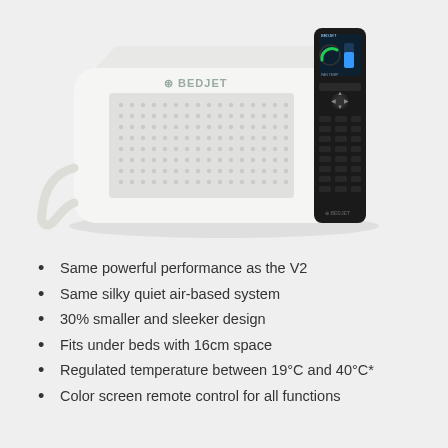[Figure (photo): BedJet V3 unit (white rectangular box with ventilation grille and BedJet logo) alongside a black color-screen remote control with display showing green/blue gauges.]
Same powerful performance as the V2
Same silky quiet air-based system
30% smaller and sleeker design
Fits under beds with 16cm space
Regulated temperature between 19°C and 40°C*
Color screen remote control for all functions